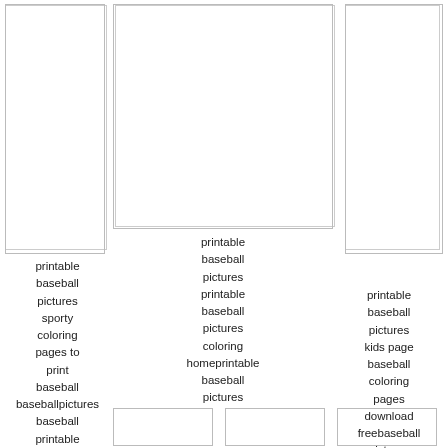[Figure (photo): Empty image placeholder box, top-left]
[Figure (photo): Empty image placeholder box, top-center]
[Figure (photo): Empty image placeholder box, top-right]
printable baseball pictures printable baseball pictures coloring homeprintable baseball pictures
printable baseball pictures kids page baseball coloring pages download freebaseball pictures printable
printable baseball pictures sporty coloring pages to print baseball baseballpictures baseball printable
[Figure (photo): Empty image placeholder box, bottom-left]
[Figure (photo): Empty image placeholder box, bottom-center]
[Figure (photo): Empty image placeholder box, bottom-right]